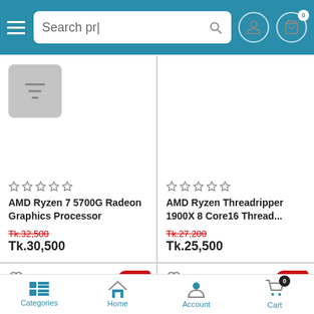[Figure (screenshot): Mobile e-commerce app header with hamburger menu, search bar reading 'Search pr|', user icon, and cart icon with badge '0']
[Figure (screenshot): Filter button (funnel icon) in top-left product grid cell]
☆☆☆☆☆ AMD Ryzen 7 5700G Radeon Graphics Processor Tk.32,500 Tk.30,500
☆☆☆☆☆ AMD Ryzen Threadripper 1900X 8 Core16 Thread... Tk.27,200 Tk.25,500
[Figure (screenshot): Bottom product card with heart icon and -7% red discount badge]
[Figure (screenshot): Bottom product card with heart icon and -7% red discount badge]
[Figure (screenshot): Bottom navigation bar with Categories, Home, Account, Cart (badge 0) icons]